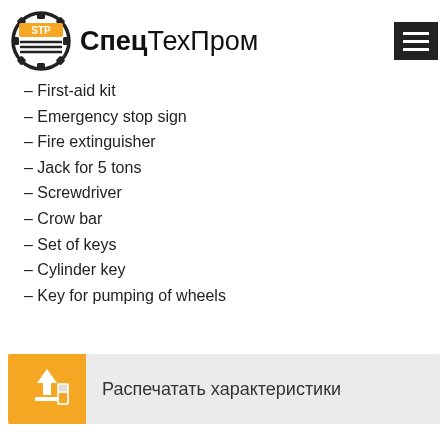СпецТехПром
- First-aid kit
- Emergency stop sign
- Fire extinguisher
- Jack for 5 tons
- Screwdriver
- Crow bar
- Set of keys
- Cylinder key
- Key for pumping of wheels
Распечатать характеристики